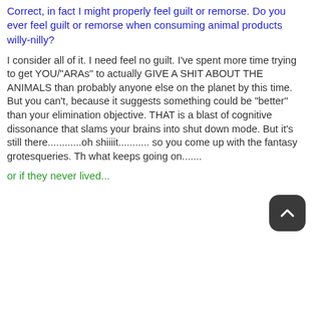Correct, in fact I might properly feel guilt or remorse. Do you ever feel guilt or remorse when consuming animal products willy-nilly?
I consider all of it. I need feel no guilt. I've spent more time trying to get YOU/"ARAs" to actually GIVE A SHIT ABOUT THE ANIMALS than probably anyone else on the planet by this time. But you can't, because it suggests something could be "better" than your elimination objective. THAT is a blast of cognitive dissonance that slams your brains into shut down mode. But it's still there............oh shiiiit........... so you come up with the fantasy grotesqueries. Th what keeps going on.......
or if they never lived...